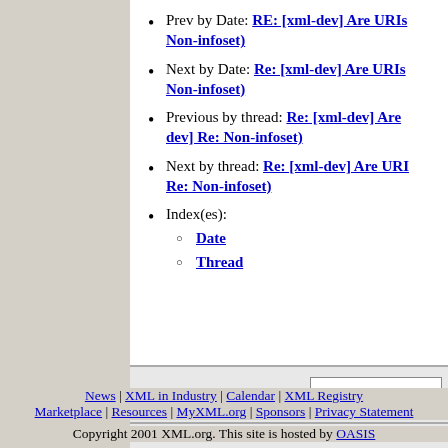Prev by Date: RE: [xml-dev] Are URIs Non-infoset)
Next by Date: Re: [xml-dev] Are URIs Non-infoset)
Previous by thread: Re: [xml-dev] Are dev] Re: Non-infoset)
Next by thread: Re: [xml-dev] Are URI Re: Non-infoset)
Index(es): Date Thread
News | XML in Industry | Calendar | XML Registry Marketplace | Resources | MyXML.org | Sponsors | Privacy Statement
Copyright 2001 XML.org. This site is hosted by OASIS